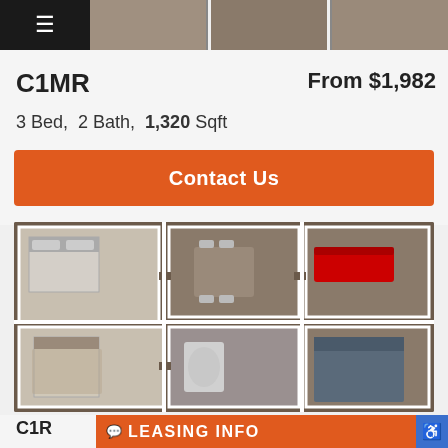[Figure (screenshot): Top bar with hamburger menu icon on black background and floor plan thumbnail images]
C1MR
From $1,982
3 Bed,  2 Bath,  1,320 Sqft
Contact Us
[Figure (illustration): 3D rendered floor plan showing a 3-bedroom 2-bath apartment layout with furniture, viewed from above]
C1R
LEASING INFO